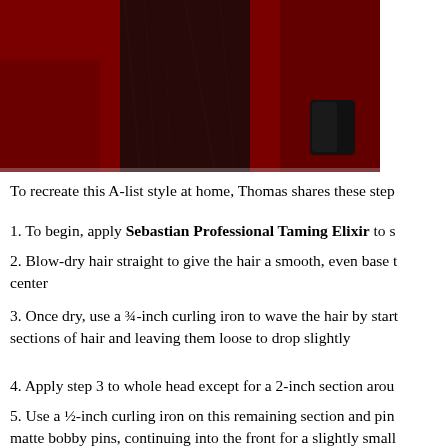[Figure (photo): Photo of a person in a dark patterned dress on a red carpet background, cropped showing lower body and dress hem with a partial view of black shoes.]
To recreate this A-list style at home, Thomas shares these step
1. To begin, apply Sebastian Professional Taming Elixir to s
2. Blow-dry hair straight to give the hair a smooth, even base t center
3. Once dry, use a ¾-inch curling iron to wave the hair by start sections of hair and leaving them loose to drop slightly
4. Apply step 3 to whole head except for a 2-inch section arou
5. Use a ½-inch curling iron on this remaining section and pin matte bobby pins, continuing into the front for a slightly small